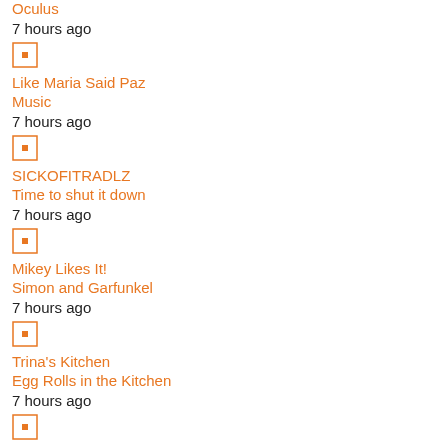Oculus
7 hours ago
[Figure (other): Small square icon with orange border and orange center dot]
Like Maria Said Paz
Music
7 hours ago
[Figure (other): Small square icon with orange border and orange center dot]
SICKOFITRADLZ
Time to shut it down
7 hours ago
[Figure (other): Small square icon with orange border and orange center dot]
Mikey Likes It!
Simon and Garfunkel
7 hours ago
[Figure (other): Small square icon with orange border and orange center dot]
Trina's Kitchen
Egg Rolls in the Kitchen
7 hours ago
[Figure (other): Small square icon with orange border and orange center dot]
Kat's Korner (of The Common Ills)
Nina Simone and the state of music